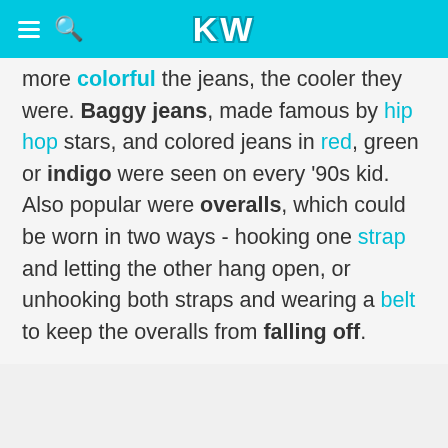KW
more colorful the jeans, the cooler they were. Baggy jeans, made famous by hip hop stars, and colored jeans in red, green or indigo were seen on every '90s kid. Also popular were overalls, which could be worn in two ways - hooking one strap and letting the other hang open, or unhooking both straps and wearing a belt to keep the overalls from falling off.